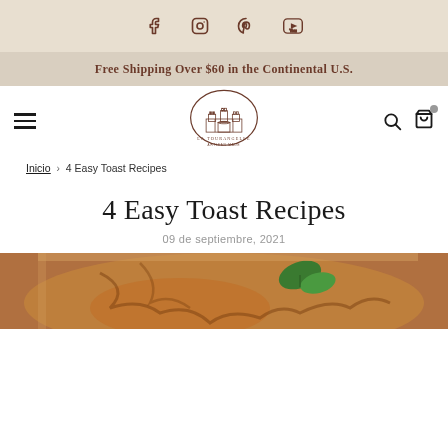Social icons: Facebook, Instagram, Pinterest, YouTube
Free Shipping Over $60 in the Continental U.S.
[Figure (logo): La Tourangelle Artisan Made logo with castle illustration in oval]
Inicio › 4 Easy Toast Recipes
4 Easy Toast Recipes
09 de septiembre, 2021
[Figure (photo): Close-up photo of toast with caramel sauce and mint garnish on a plate]